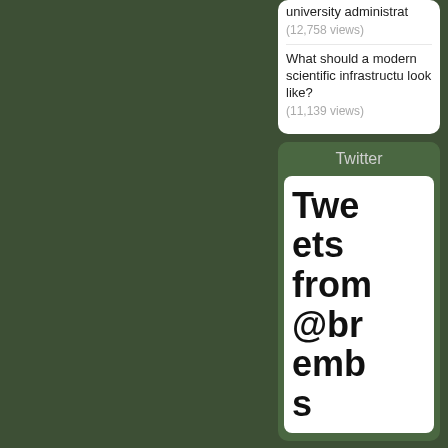[Figure (screenshot): Dark green background area (left portion of webpage screenshot)]
university administrat (12,758 views)
What should a modern scientific infrastructu look like? (11,139 views)
Twitter
Tweets from @brembs
[Figure (screenshot): Retweet icon symbol at bottom of Twitter widget]